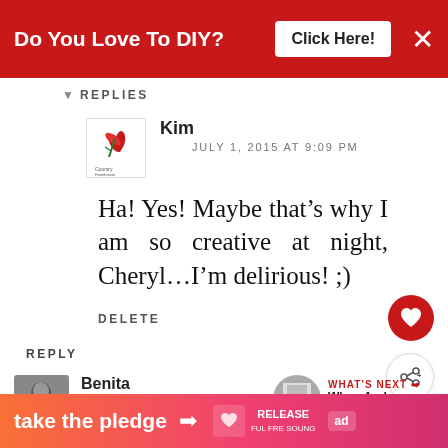[Figure (other): Red advertisement banner: 'Do You Love To DIY? Click Here!' with X close button]
REPLIES
Kim
JULY 1, 2015 AT 9:09 PM
Ha! Yes! Maybe that’s why I am so creative at night, Cheryl…I’m delirious! ;)
DELETE
REPLY
Benita
JUNE 30, 2015 AT 11:25 PM
WHAT’S NEXT → When And Why Do You...
[Figure (other): Bottom ad banner: 'take the pledge → RELEASE' with gradient orange-pink background]